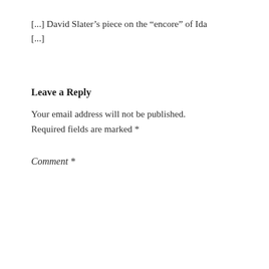[...] David Slater’s piece on the “encore” of Ida [...]
Leave a Reply
Your email address will not be published. Required fields are marked *
Comment *